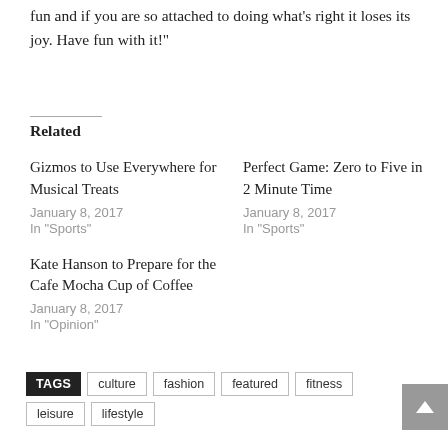fun and if you are so attached to doing what's right it loses its joy. Have fun with it!"
Related
Gizmos to Use Everywhere for Musical Treats
January 8, 2017
In "Sports"
Perfect Game: Zero to Five in 2 Minute Time
January 8, 2017
In "Sports"
Kate Hanson to Prepare for the Cafe Mocha Cup of Coffee
January 8, 2017
In "Opinion"
TAGS culture fashion featured fitness leisure lifestyle